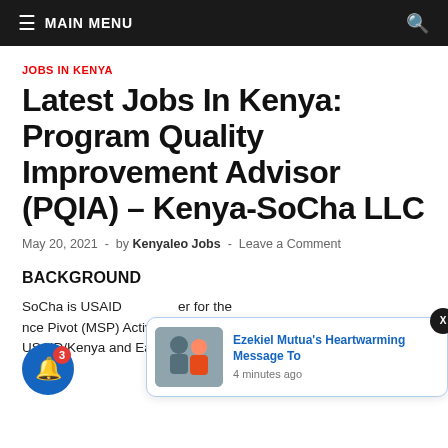≡ MAIN MENU
JOBS IN KENYA
Latest Jobs In Kenya: Program Quality Improvement Advisor (PQIA) – Kenya-SoCha LLC
May 20, 2021 - by Kenyaleo Jobs - Leave a Comment
BACKGROUND
SoCha is USAID... er for the ... nce Pivot (MSP) Activity. The MSP Activity supports USAID/Kenya and East Africa (KEA) staff and